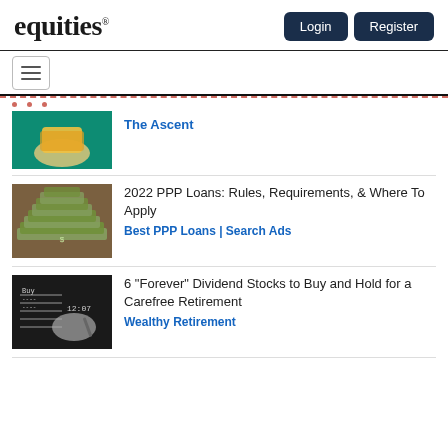equities® — Login | Register
[Figure (screenshot): Partial article thumbnail showing a hand holding a card on a green background, with 'The Ascent' as source]
The Ascent
[Figure (photo): Stacks of US dollar bills arranged like a pyramid]
2022 PPP Loans: Rules, Requirements, & Where To Apply
Best PPP Loans | Search Ads
[Figure (photo): Black and white photo of a hand with a pen pointing at a stock board showing 'Buy' and '12:07']
6 "Forever" Dividend Stocks to Buy and Hold for a Carefree Retirement
Wealthy Retirement